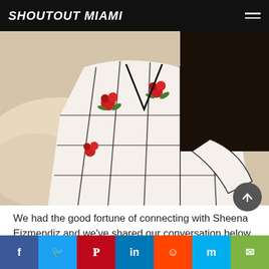SHOUTOUT MIAMI
[Figure (photo): Woman in white floral patterned dress sitting on a couch, photo cropped to show torso and arms]
We had the good fortune of connecting with Sheena Eizmendiz and we've shared our conversation below.
Hi Sheena, have there been any changes in how you think about work-life balance?
I believe the idea behind work-life-balance is an evolving definition. Work-life balance is an important aspect of a healthy work environment